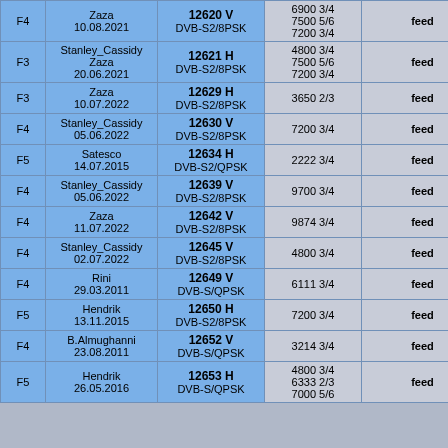| Beam | Source / Date | Frequency / Standard | SR FEC | Content |
| --- | --- | --- | --- | --- |
| F4 | Zaza
10.08.2021 | 12620 V
DVB-S2/8PSK | 6900 3/4
7500 5/6
7200 3/4 | feed |
| F3 | Stanley_Cassidy
Zaza
20.06.2021 | 12621 H
DVB-S2/8PSK | 4800 3/4
7500 5/6
7200 3/4 | feed |
| F3 | Zaza
10.07.2022 | 12629 H
DVB-S2/8PSK | 3650 2/3 | feed |
| F4 | Stanley_Cassidy
05.06.2022 | 12630 V
DVB-S2/8PSK | 7200 3/4 | feed |
| F5 | Satesco
14.07.2015 | 12634 H
DVB-S2/QPSK | 2222 3/4 | feed |
| F4 | Stanley_Cassidy
05.06.2022 | 12639 V
DVB-S2/8PSK | 9700 3/4 | feed |
| F4 | Zaza
11.07.2022 | 12642 V
DVB-S2/8PSK | 9874 3/4 | feed |
| F4 | Stanley_Cassidy
02.07.2022 | 12645 V
DVB-S2/8PSK | 4800 3/4 | feed |
| F4 | Rini
29.03.2011 | 12649 V
DVB-S/QPSK | 6111 3/4 | feed |
| F5 | Hendrik
13.11.2015 | 12650 H
DVB-S2/8PSK | 7200 3/4 | feed |
| F4 | B.Almughanni
23.08.2011 | 12652 V
DVB-S/QPSK | 3214 3/4 | feed |
| F5 | Hendrik
26.05.2016 | 12653 H
DVB-S/QPSK | 4800 3/4
6333 2/3
7000 5/6 | feed |